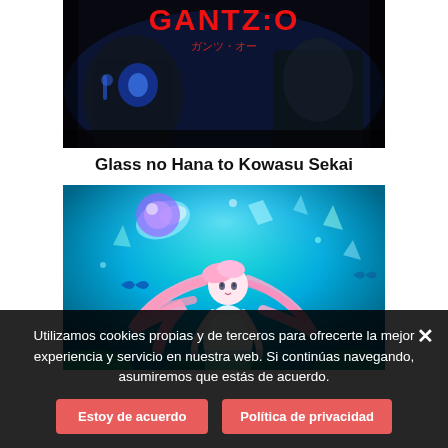[Figure (illustration): GANTZ:O movie poster — dark sci-fi imagery with armored figures, red Japanese text title 'GANTZ:O' and subtitle 'ガンツ・オー']
Glass no Hana to Kowasu Sekai
[Figure (illustration): Anime movie poster for 'Glass no Hana to Kowasu Sekai' — pink-haired anime girl in white dress against vibrant cyan/teal fantasy background with floating crystal shards]
Utilizamos cookies propias y de terceros para ofrecerte la mejor experiencia y servicio en nuestra web. Si continúas navegando, asumiremos que estás de acuerdo.